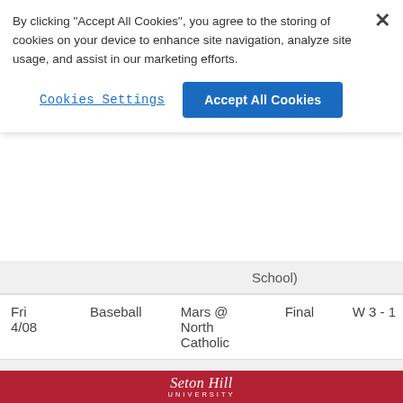By clicking "Accept All Cookies", you agree to the storing of cookies on your device to enhance site navigation, analyze site usage, and assist in our marketing efforts.
× (close button)
Cookies Settings
Accept All Cookies
| Date | Sport | Match | Status | Result |
| --- | --- | --- | --- | --- |
| (partial row cutoff) |  |  |  |  |
| Fri 4/08 | Baseball | Mars @ North Catholic | Final | W 3 - 1 |
| Mon 4/11 4pm | Baseball | Mars @ Plum (Plum High School) |  |  |
| Tue 4/12 | Baseball | Plum @ |  |  |
Seton Hill UNIVERSITY